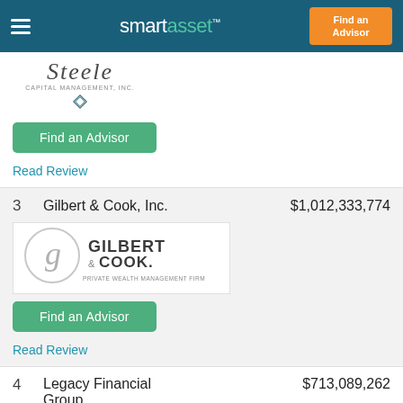smartasset™ — Find an Advisor
[Figure (logo): Steele Capital Management, Inc. logo]
Find an Advisor
Read Review
3   Gilbert & Cook, Inc.   $1,012,333,774
[Figure (logo): Gilbert & Cook Private Wealth Management Firm logo]
Find an Advisor
Read Review
4   Legacy Financial Group   $713,089,262
[Figure (logo): Legacy Financial Group logo]
Find an Advisor